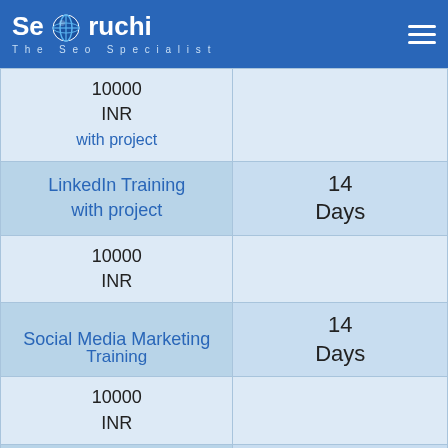Seoruchi – The Seo Specialist
| Course | Duration |
| --- | --- |
| 10000 INR (with project) |  |
| LinkedIn Training with project | 14 Days |
| 10000 INR |  |
| Social Media Marketing Training | 14 Days |
| 10000 INR |  |
| Web Designing with project | 45 Days |
| 10000 INR |  |
| Blo... | 45 |